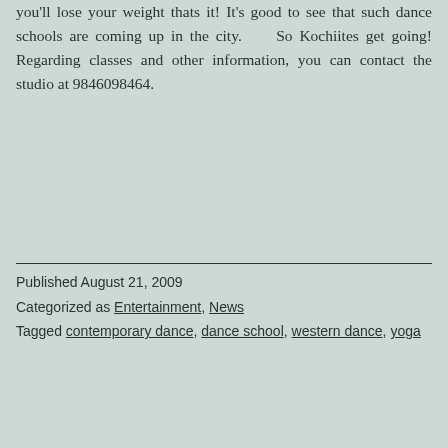you'll lose your weight thats it! It's good to see that such dance schools are coming up in the city. So Kochiites get going! Regarding classes and other information, you can contact the studio at 9846098464.
Published August 21, 2009
Categorized as Entertainment, News
Tagged contemporary dance, dance school, western dance, yoga